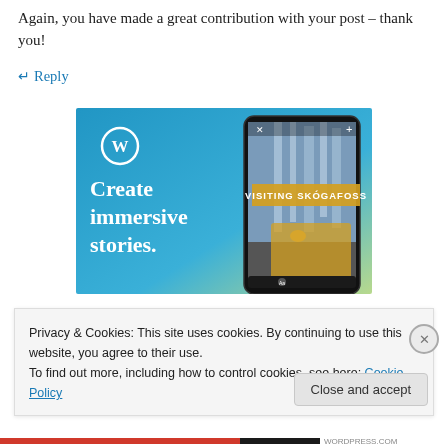Again, you have made a great contribution with your post – thank you!
↵ Reply
[Figure (illustration): WordPress advertisement banner with blue gradient background, WordPress logo (W in circle), text 'Create immersive stories.' on left, and a smartphone showing a photo of a waterfall with label 'VISITING SKÓGAFOSS' on the right.]
Privacy & Cookies: This site uses cookies. By continuing to use this website, you agree to their use.
To find out more, including how to control cookies, see here: Cookie Policy
Close and accept